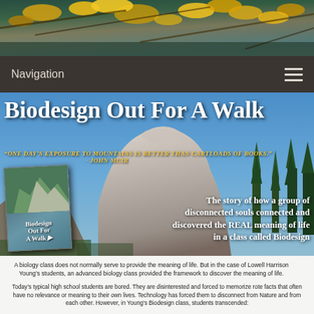[Figure (photo): Autumn leaves with golden yellow foliage against blue sky header banner]
Navigation
[Figure (photo): Hero banner with Half Dome Yosemite mountain landscape, book cover overlay, title 'Biodesign Out For A Walk', quote from John Muir, and descriptive tagline]
A biology class does not normally serve to provide the meaning of life. But in the case of Lowell Harrison Young's students, an advanced biology class provided the framework to discover the meaning of life.
Today's typical high school students are bored. They are disinterested and forced to memorize rote facts that often have no relevance or meaning to their own lives. Technology has forced them to disconnect from Nature and from each other. However, in Young's Biodesign class, students transcended:
- From dissecting fetal pigs to wilderness revelations.
- From four drab walls to an unfettered wilderness-classroom under the stars.
- From boredom to ecstatic visions of marvels, mysteries and miracles.
- From profane hallway chatter to discussing the wisdom of Nature's designs.
- From memorization of minutiae to probing the illimitable freedom of their minds.